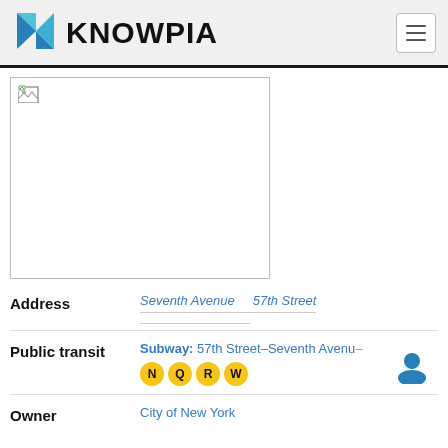KNOWPIA
[Figure (logo): Knowpia logo with blue angular K icon]
[Figure (photo): Broken/unloaded image placeholder]
| Field | Value |
| --- | --- |
| Address | Seventh Avenue  57th Street |
| Public transit | Subway: 57th Street–Seventh Avenue N Q R W |
| Owner | City of New York |